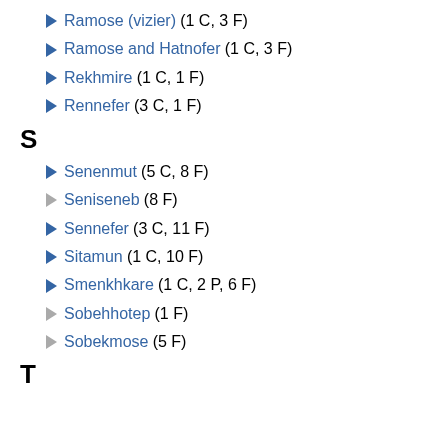Ramose (vizier) (1 C, 3 F)
Ramose and Hatnofer (1 C, 3 F)
Rekhmire (1 C, 1 F)
Rennefer (3 C, 1 F)
S
Senenmut (5 C, 8 F)
Seniseneb (8 F)
Sennefer (3 C, 11 F)
Sitamun (1 C, 10 F)
Smenkhkare (1 C, 2 P, 6 F)
Sobehhotep (1 F)
Sobekmose (5 F)
T